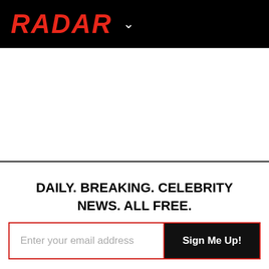RADAR
DAILY. BREAKING. CELEBRITY NEWS. ALL FREE.
Enter your email address  Sign Me Up!